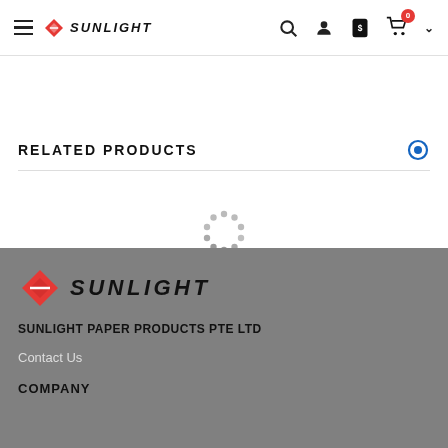Sunlight – navigation header with menu, logo, search, account, price, cart icons
RELATED PRODUCTS
[Figure (other): Loading spinner (dots arranged in a circle, grey color)]
[Figure (logo): Sunlight logo with red diamond shape and bold italic SUNLIGHT text]
SUNLIGHT PAPER PRODUCTS PTE LTD
Contact Us
COMPANY